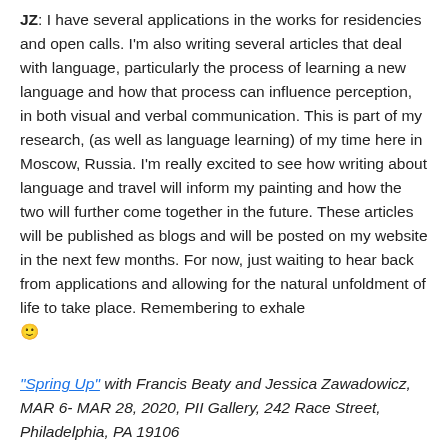JZ: I have several applications in the works for residencies and open calls. I'm also writing several articles that deal with language, particularly the process of learning a new language and how that process can influence perception, in both visual and verbal communication. This is part of my research, (as well as language learning) of my time here in Moscow, Russia. I'm really excited to see how writing about language and travel will inform my painting and how the two will further come together in the future. These articles will be published as blogs and will be posted on my website in the next few months. For now, just waiting to hear back from applications and allowing for the natural unfoldment of life to take place. Remembering to exhale 🙂
"Spring Up" with Francis Beaty and Jessica Zawadowicz, MAR 6- MAR 28, 2020, PII Gallery, 242 Race Street, Philadelphia, PA 19106